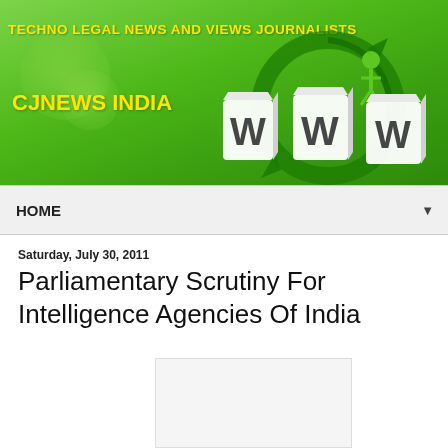[Figure (illustration): CJNews India website banner with green background, WWW graphic with circular arrows, and yellow text reading TECHNO LEGAL NEWS AND VIEWS JOURNALISTS and CJNEWS INDIA]
HOME
Saturday, July 30, 2011
Parliamentary Scrutiny For Intelligence Agencies Of India
[Figure (other): Blank/white image placeholder box]